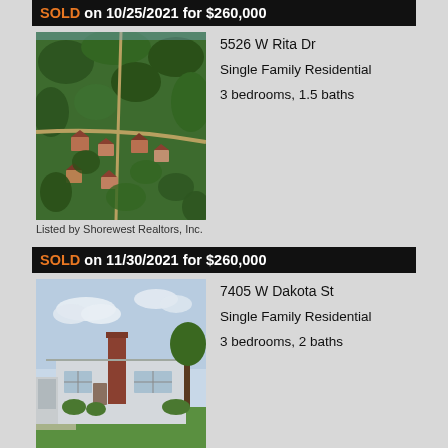SOLD on 10/25/2021 for $260,000
[Figure (photo): Aerial view of residential neighborhood with green trees and houses]
5526 W Rita Dr
Single Family Residential
3 bedrooms, 1.5 baths
Listed by Shorewest Realtors, Inc.
SOLD on 11/30/2021 for $260,000
[Figure (photo): Exterior photo of single-story brick house with chimney and green lawn]
7405 W Dakota St
Single Family Residential
3 bedrooms, 2 baths
Listed by Shorewest Realtors, Inc.